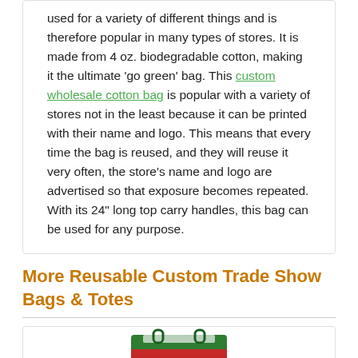used for a variety of different things and is therefore popular in many types of stores. It is made from 4 oz. biodegradable cotton, making it the ultimate 'go green' bag. This custom wholesale cotton bag is popular with a variety of stores not in the least because it can be printed with their name and logo. This means that every time the bag is reused, and they will reuse it very often, the store's name and logo are advertised so that exposure becomes repeated. With its 24" long top carry handles, this bag can be used for any purpose.
More Reusable Custom Trade Show Bags & Totes
[Figure (photo): Partial view of a colorful reusable tote bag at the bottom of a white card, showing green, red and orange fabric colors]